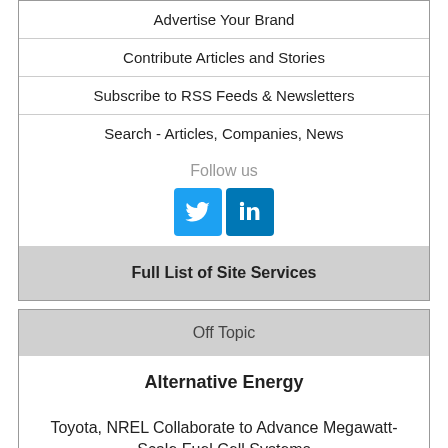Advertise Your Brand
Contribute Articles and Stories
Subscribe to RSS Feeds & Newsletters
Search - Articles, Companies, News
Follow us
[Figure (infographic): Twitter and LinkedIn social media icons (blue squares with white logos)]
Full List of Site Services
Off Topic
Alternative Energy
Toyota, NREL Collaborate to Advance Megawatt-Scale Fuel Cell Systems